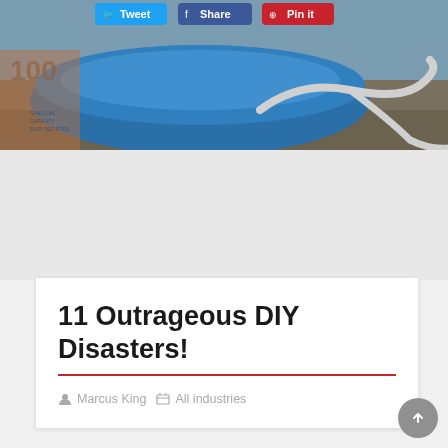[Figure (photo): Photo of a blue inflatable pool or tank with a white hose/tube on a dirt/gravel surface, partially overlaid with social sharing buttons (Tweet, Share, Pin it) at the top.]
11 Outrageous DIY Disasters!
Marcus King   All industries